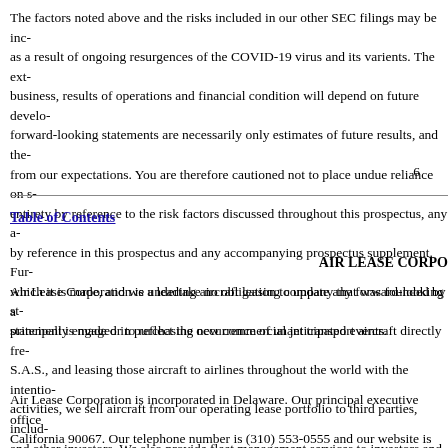The factors noted above and the risks included in our other SEC filings may be increased as a result of ongoing resurgences of the COVID-19 virus and its varients. The extent our business, results of operations and financial condition will depend on future developments, forward-looking statements are necessarily only estimates of future results, and the actual results from our expectations. You are therefore cautioned not to place undue reliance on statements, entirety by reference to the risk factors discussed throughout this prospectus, any and all incorporated by reference in this prospectus and any accompanying prospectus supplement. Furthermore, which it is made, and we undertake no obligation to update any forward-looking statements after the statement is made or to reflect the occurrence of unanticipated events.
6
Table of Contents
AIR LEASE CORPO
Air Lease Corporation is a leading aircraft leasing company that was founded by a and principally engaged in purchasing new commercial jet transport aircraft directly from S.A.S., and leasing those aircraft to airlines throughout the world with the intentions activities, we sell aircraft from our operating lease portfolio to third parties, including and other investors. We also provide fleet management services to investors and over information about our business, operations and financial results, see the documents
Air Lease Corporation is incorporated in Delaware. Our principal executive office California 90067. Our telephone number is (310) 553-0555 and our website is www the information available through our website is not intended to form a part of or be